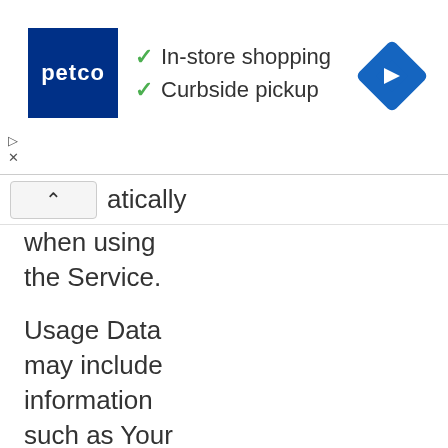[Figure (screenshot): Petco advertisement banner showing Petco logo (white text on dark blue background), checkmarks next to 'In-store shopping' and 'Curbside pickup', a blue navigation/directions diamond icon on the right, and ad control buttons (play and close) on the bottom left.]
atically when using the Service.
Usage Data may include information such as Your Device's Internet Protocol address (e.g. IP address), browser type, browser